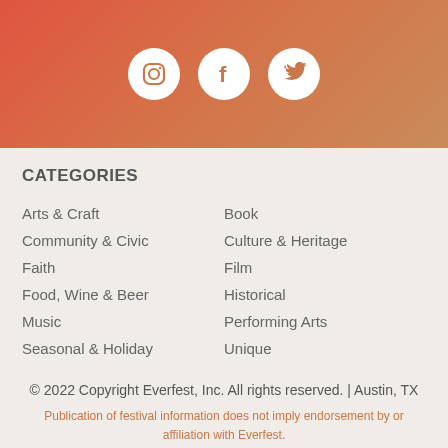[Figure (illustration): Header banner with gradient background (red-orange to warm orange) containing three white circular social media icons: Instagram, Facebook, Twitter]
CATEGORIES
Arts & Craft
Book
Community & Civic
Culture & Heritage
Faith
Film
Food, Wine & Beer
Historical
Music
Performing Arts
Seasonal & Holiday
Unique
© 2022 Copyright Everfest, Inc. All rights reserved. | Austin, TX
Publication of festival information does not imply endorsement by or affiliation with Everfest. All festival names, trademarks, and brands are property of their respective owners.